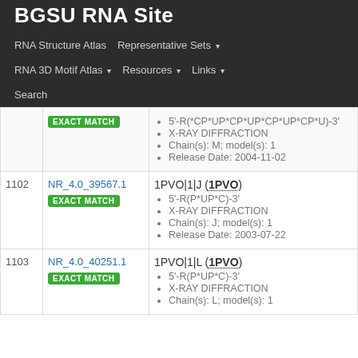BGSU RNA Site
RNA Structure Atlas | Representative Sets ▾ | RNA 3D Motif Atlas ▾ | Resources ▾ | Links ▾ | Search
| # | ID | Details |
| --- | --- | --- |
|  | EXACT MATCH | 5'-R(*CP*UP*CP*UP*CP*UP*CP*U)-3' • X-RAY DIFFRACTION • Chain(s): M; model(s): 1 • Release Date: 2004-11-02 |
| 1102 | NR_4.0_39567.1 EXACT MATCH | 1PVO|1|J (1PVO) • 5'-R(P*UP*C)-3' • X-RAY DIFFRACTION • Chain(s): J; model(s): 1 • Release Date: 2003-07-22 |
| 1103 | NR_4.0_40251.1 EXACT MATCH | 1PVO|1|L (1PVO) • 5'-R(P*UP*C)-3' • X-RAY DIFFRACTION • Chain(s): L; model(s): 1 |